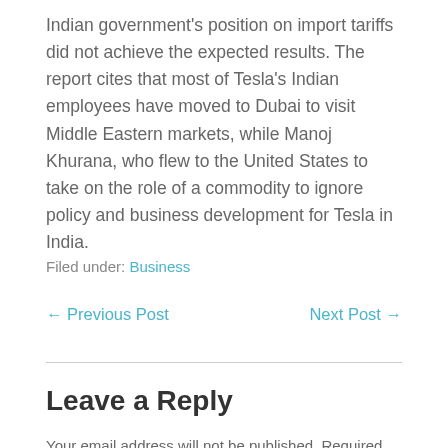Indian government's position on import tariffs did not achieve the expected results. The report cites that most of Tesla's Indian employees have moved to Dubai to visit Middle Eastern markets, while Manoj Khurana, who flew to the United States to take on the role of a commodity to ignore policy and business development for Tesla in India.
Filed under: Business
← Previous Post    Next Post →
Leave a Reply
Your email address will not be published. Required fields